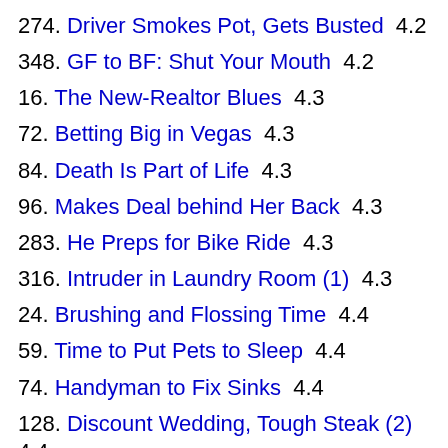274. Driver Smokes Pot, Gets Busted  4.2
348. GF to BF: Shut Your Mouth  4.2
16. The New-Realtor Blues  4.3
72. Betting Big in Vegas  4.3
84. Death Is Part of Life  4.3
96. Makes Deal behind Her Back  4.3
283. He Preps for Bike Ride  4.3
316. Intruder in Laundry Room (1)  4.3
24. Brushing and Flossing Time  4.4
59. Time to Put Pets to Sleep  4.4
74. Handyman to Fix Sinks  4.4
128. Discount Wedding, Tough Steak (2)  4.4